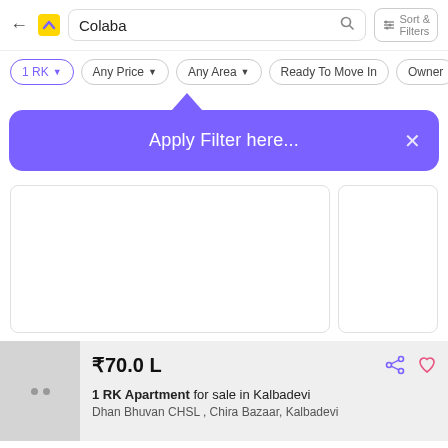Colaba — search bar with Sort & Filters
1 RK ▾   Any Price ▾   Any Area ▾   Ready To Move In   Owner
[Figure (screenshot): Purple tooltip popup with text 'Apply Filter here...' and a close X button, with a caret pointing upward toward the Any Area filter chip]
₹70.0 L
1 RK Apartment for sale in Kalbadevi
Dhan Bhuvan CHSL, Chira Bazaar, Kalbadevi